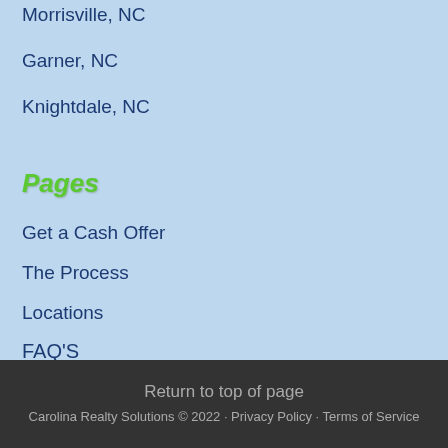Morrisville, NC
Garner, NC
Knightdale, NC
Pages
Get a Cash Offer
The Process
Locations
FAQ'S
Contact Us
Return to top of page
Carolina Realty Solutions © 2022 · Privacy Policy · Terms of Service